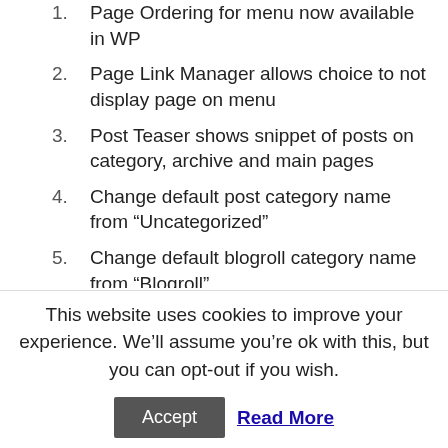1. Page Ordering for menu now available in WP
2. Page Link Manager allows choice to not display page on menu
3. Post Teaser shows snippet of posts on category, archive and main pages
4. Change default post category name from “Uncategorized”
5. Change default blogroll category name from “Blogroll”
6. Delete default “Hello World” post
7. Delete default comment on the Hello World post
8. Change permalink structure to custom setting recommended by Scott & others
9. Sets the Main Blog Email for convenience
This website uses cookies to improve your experience. We’ll assume you’re ok with this, but you can opt-out if you wish.
Accept | Read More